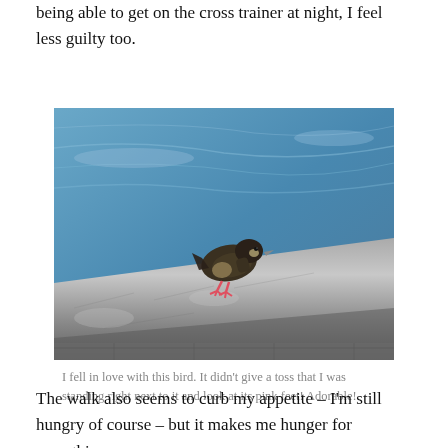being able to get on the cross trainer at night, I feel less guilty too.
[Figure (photo): A small duck with pink feet standing on a stone ledge beside blue rippling water. The bird is dark-feathered with a lighter underside and bright pink/red feet. Water reflections visible in the background.]
I fell in love with this bird. It didn't give a toss that I was standing right next to it and look at its pink feet! Adorable!
The walk also seems to curb my appetite – I'm still hungry of course – but it makes me hunger for something